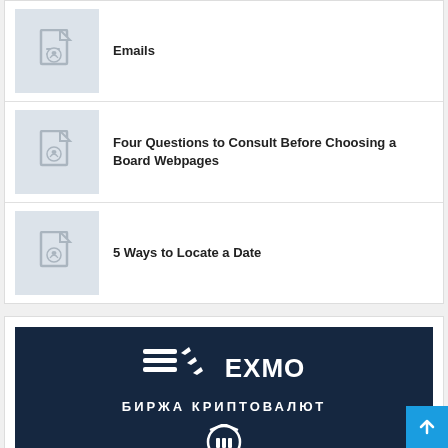Emails
Four Questions to Consult Before Choosing a Board Webpages
5 Ways to Locate a Date
[Figure (logo): EXMO cryptocurrency exchange logo with БИРЖА КРИПТОВАЛЮТ subtitle on dark navy background]